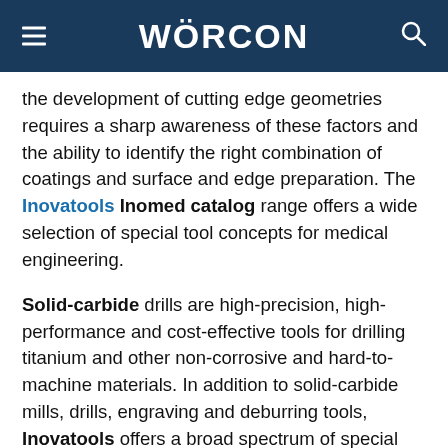WÖRCON
the development of cutting edge geometries requires a sharp awareness of these factors and the ability to identify the right combination of coatings and surface and edge preparation. The Inovatools Inomed catalog range offers a wide selection of special tool concepts for medical engineering.
Solid-carbide drills are high-precision, high-performance and cost-effective tools for drilling titanium and other non-corrosive and hard-to-machine materials. In addition to solid-carbide mills, drills, engraving and deburring tools, Inovatools offers a broad spectrum of special tools. Nilüfer Cebic, head of Product Management and Marketing at Inovatools:
"C...